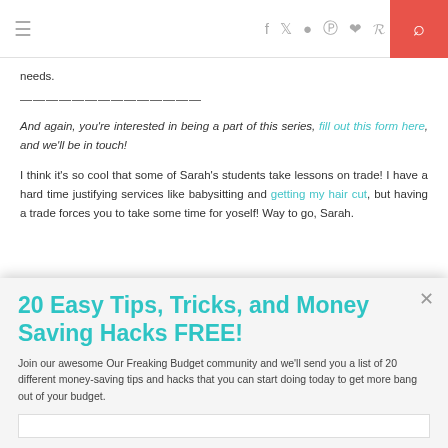≡  [social icons] [search]
needs.
————————————
And again, you're interested in being a part of this series, fill out this form here, and we'll be in touch!
I think it's so cool that some of Sarah's students take lessons on trade! I have a hard time justifying services like babysitting and getting my hair cut, but having a trade forces you to take some time for yoself! Way to go, Sarah.
20 Easy Tips, Tricks, and Money Saving Hacks FREE!
Join our awesome Our Freaking Budget community and we'll send you a list of 20 different money-saving tips and hacks that you can start doing today to get more bang out of your budget.